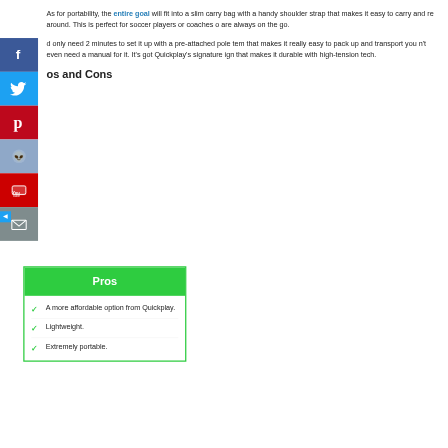As for portability, the entire goal will fit into a slim carry bag with a handy shoulder strap that makes it easy to carry and re around. This is perfect for soccer players or coaches o are always on the go.
d only need 2 minutes to set it up with a pre-attached pole tem that makes it really easy to pack up and transport you n't even need a manual for it. It's got Quickplay's signature ign that makes it durable with high-tension tech.
os and Cons
| Pros |
| --- |
| A more affordable option from Quickplay. |
| Lightweight. |
| Extremely portable. |